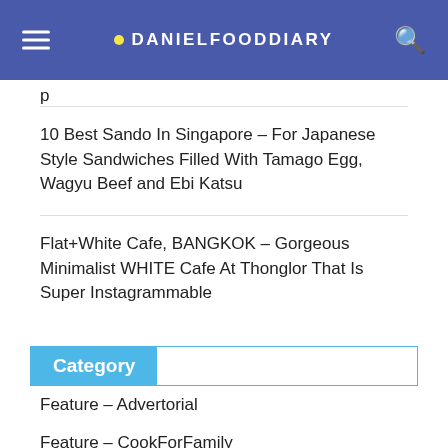DANIELFOODDIARY
p
10 Best Sando In Singapore – For Japanese Style Sandwiches Filled With Tamago Egg, Wagyu Beef and Ebi Katsu
Flat+White Cafe, BANGKOK – Gorgeous Minimalist WHITE Cafe At Thonglor That Is Super Instagrammable
Category
Feature – Advertorial
Feature – CookForFamily
Feature – Eat Healthy SG
Feature – Food Guide
Feature – Interview
Feature – Michelin